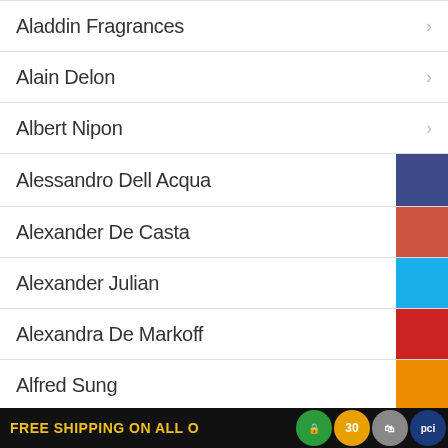Aladdin Fragrances
Alain Delon
Albert Nipon
Alessandro Dell Acqua
Alexander De Casta
Alexander Julian
Alexandra De Markoff
Alfred Sung
Alliance Parfums
Alyssa Ashley
FREE SHIPPING ON ALL ORDERS